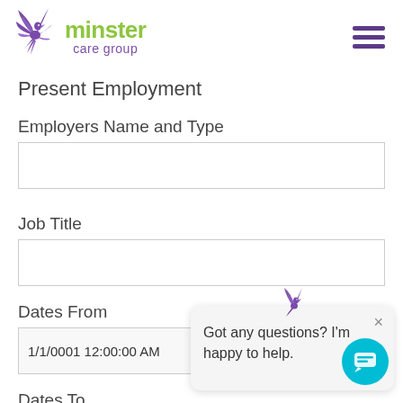[Figure (logo): Minster Care Group logo with purple bird and green/purple text]
Present Employment
Employers Name and Type
Job Title
Dates From
1/1/0001 12:00:00 AM
Dates To
[Figure (screenshot): Chat popup widget with bird icon, close button, and text 'Got any questions? I'm happy to help.']